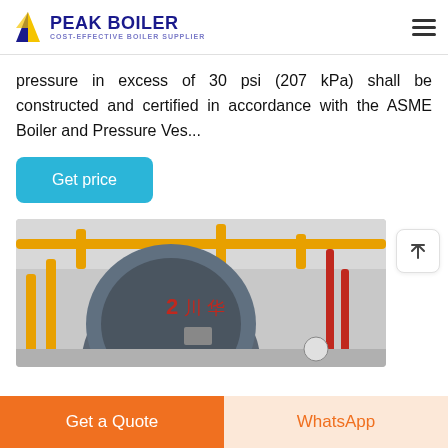PEAK BOILER COST-EFFECTIVE BOILER SUPPLIER
pressure in excess of 30 psi (207 kPa) shall be constructed and certified in accordance with the ASME Boiler and Pressure Ves...
[Figure (other): Teal/blue button labeled 'Get price']
[Figure (photo): Industrial boiler room with large cylindrical boilers, yellow gas pipes, and red piping on the walls and ceiling.]
Get a Quote | WhatsApp